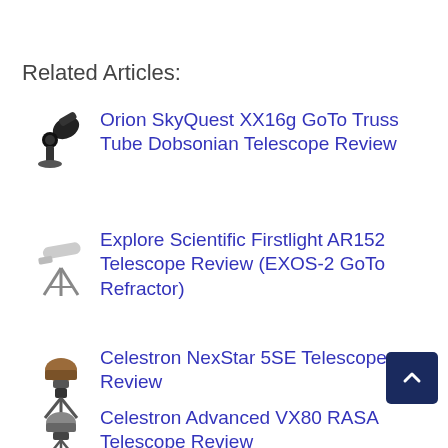Related Articles:
Orion SkyQuest XX16g GoTo Truss Tube Dobsonian Telescope Review
Explore Scientific Firstlight AR152 Telescope Review (EXOS-2 GoTo Refractor)
Celestron NexStar 5SE Telescope Review
Celestron Advanced VX800 RASA Telescope Review